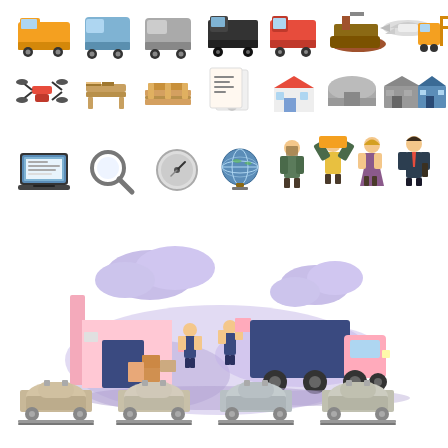[Figure (illustration): Logistics and transportation icon set in isometric style. Top row: orange truck, blue van, gray van, black truck, red truck, cargo ship, airplane, forklift. Middle row: red drone, wooden workbench, wooden pallets, shipping document, warehouse building with red roof, gray bunker/hangar, gray warehouse, blue warehouse. Third row: laptop with screen, magnifying glass, compass/gauge, globe on stand, worker carrying box, worker holding boxes overhead, woman on phone, businessman with briefcase. Center: flat-style illustration of warehouse scene with pink building, workers loading pink boxes onto a dark blue delivery truck with pink cab, purple clouds in background. Bottom row: four railroad tank cars/wagons in beige/gray.]